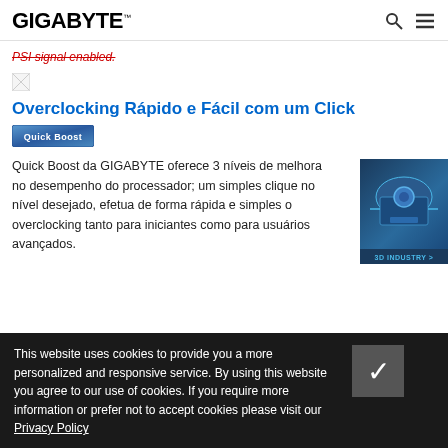GIGABYTE
PSI signal enabled.
[Figure (illustration): Broken image placeholder icon]
Overclocking Rápido e Fácil com um Click
[Figure (logo): Quick Boost badge/logo]
Quick Boost da GIGABYTE oferece 3 níveis de melhora no desempenho do processador; um simples clique no nível desejado, efetua de forma rápida e simples o overclocking tanto para iniciantes como para usuários avançados.
[Figure (illustration): 3D INDUSTRY advertisement showing industrial machine/equipment in blue tones]
This website uses cookies to provide you a more personalized and responsive service. By using this website you agree to our use of cookies. If you require more information or prefer not to accept cookies please visit our Privacy Policy